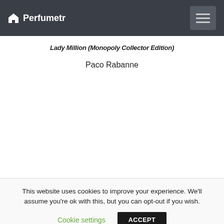Perfumetr
Lady Million (Monopoly Collector Edition)
Paco Rabanne
This website uses cookies to improve your experience. We'll assume you're ok with this, but you can opt-out if you wish.
Cookie settings  ACCEPT